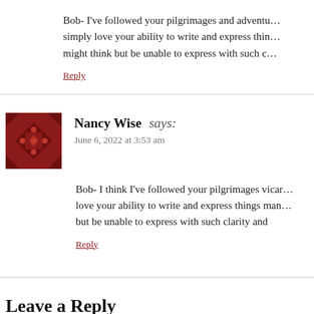Bob- I've followed your pilgrimages and adventu… simply love your ability to write and express thin… might think but be unable to express with such c…
Reply
Nancy Wise says:
June 6, 2022 at 3:53 am
Bob- I think I've followed your pilgrimages vicar… love your ability to write and express things man… but be unable to express with such clarity and
Reply
Leave a Reply
Your email address will not be published. Required fiel…